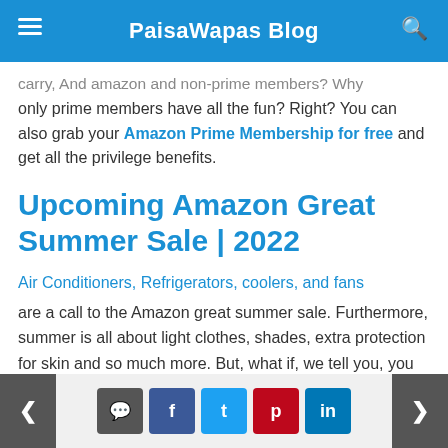PaisaWapas Blog
carry, And amazon and non-prime members? Why only prime members have all the fun? Right? You can also grab your Amazon Prime Membership for free and get all the privilege benefits.
Upcoming Amazon Great Summer Sale | 2022
Air Conditioners, Refrigerators, coolers, and fans are a call to the Amazon great summer sale. Furthermore, summer is all about light clothes, shades, extra protection for skin and so much more. But, what if, we tell you, you can save a lot on these products?
Yes, you are hearing it, right!  We have come up
< [comment] f t p in >